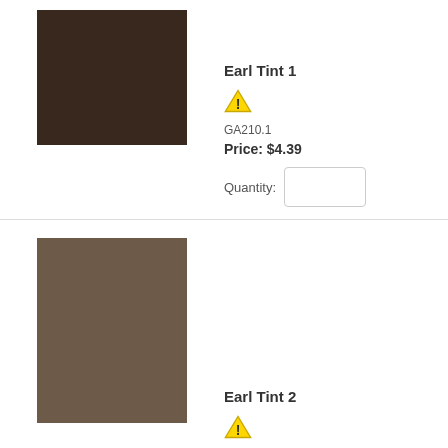[Figure (illustration): Dark brown color swatch square for Earl Tint 1]
Earl Tint 1
[Figure (illustration): Warning triangle icon (yellow)]
GA210.1
Price: $4.39
Quantity:
[Figure (illustration): Medium brown color swatch square for Earl Tint 2]
Earl Tint 2
[Figure (illustration): Warning triangle icon (yellow) for Earl Tint 2]